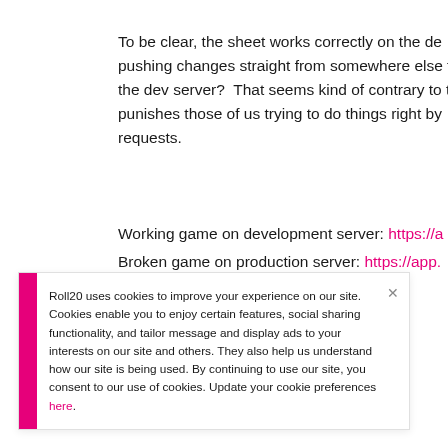To be clear, the sheet works correctly on the de pushing changes straight from somewhere else to the dev server?  That seems kind of contrary to the punishes those of us trying to do things right by requests.
Working game on development server: https://a
Broken game on production server: https://app.
Roll20 uses cookies to improve your experience on our site. Cookies enable you to enjoy certain features, social sharing functionality, and tailor message and display ads to your interests on our site and others. They also help us understand how our site is being used. By continuing to use our site, you consent to our use of cookies. Update your cookie preferences here.